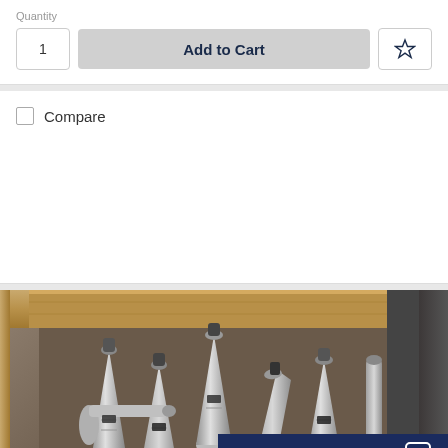Quantity
1
Add to Cart
Compare
[Figure (photo): Wood crate filled with multiple CNC tool holders (BT/CAT style) stacked loosely, viewed from above at an angle. Tools are metallic silver/grey with black collets. A 'Leave a message' chat bar overlays the bottom-right corner.]
Leave a message